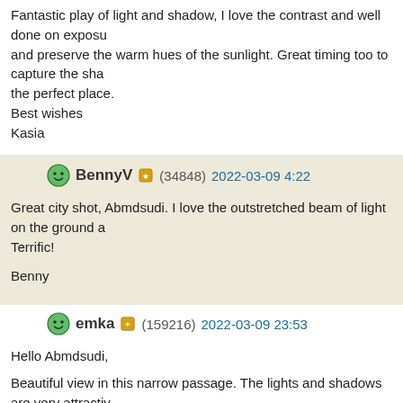Fantastic play of light and shadow, I love the contrast and well done on exposure and preserve the warm hues of the sunlight. Great timing too to capture the sha the perfect place.
Best wishes
Kasia
BennyV (34848) 2022-03-09 4:22
Great city shot, Abmdsudi. I love the outstretched beam of light on the ground a Terrific!

Benny
emka (159216) 2022-03-09 23:53
Hello Abmdsudi,

Beautiful view in this narrow passage. The lights and shadows are very attractiv silhouettes.

Best regards Malgo
adramad (73600) 2022-03-10 11:19